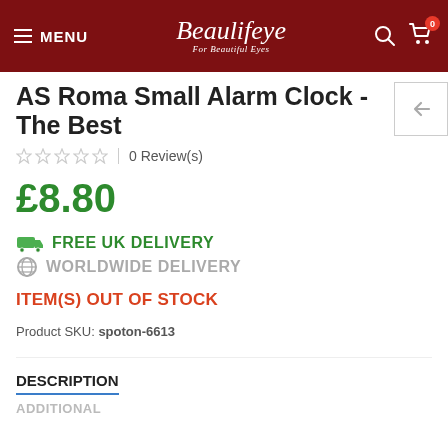MENU | Beaulifeye For Beautiful Eyes
AS Roma Small Alarm Clock - The Best
0 Review(s)
£8.80
FREE UK DELIVERY
WORLDWIDE DELIVERY
ITEM(S) OUT OF STOCK
Product SKU: spoton-6613
DESCRIPTION
ADDITIONAL